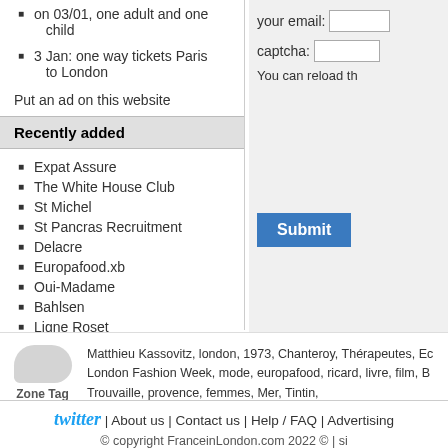on 03/01, one adult and one child
3 Jan: one way tickets Paris to London
Put an ad on this website
Recently added
Expat Assure
The White House Club
St Michel
St Pancras Recruitment
Delacre
Europafood.xb
Oui-Madame
Bahlsen
Ligne Roset
Brossard
your email:
captcha:
You can reload th
Submit
Matthieu Kassovitz, london, 1973, Chanteroy, Thérapeutes, Ec London Fashion Week, mode, europafood, ricard, livre, film, B Trouvaille, provence, femmes, Mer, Tintin,
Zone Tag
twitter | About us | Contact us | Help / FAQ | Advertising
© copyright FranceinLondon.com 2022 © | si